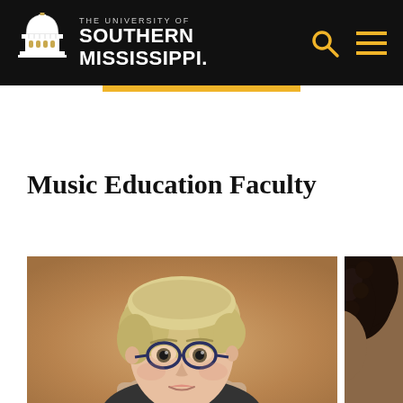[Figure (logo): University of Southern Mississippi header with black background, capitol dome logo on left, gold search and menu icons on right]
Music Education Faculty
[Figure (photo): Headshot of a woman with short blonde hair and dark round glasses, photographed against a warm tan/brown background]
[Figure (photo): Partial headshot of a person with dark curly hair, partially cropped at right edge of page]